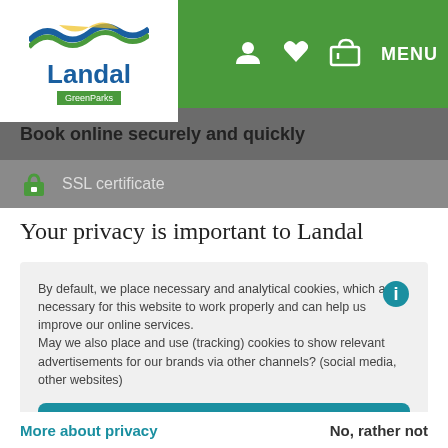[Figure (logo): Landal GreenParks logo with blue text and green stripe]
Book online securely and quickly
SSL certificate
Your privacy is important to Landal
By default, we place necessary and analytical cookies, which are necessary for this website to work properly and can help us improve our online services.
May we also place and use (tracking) cookies to show relevant advertisements for our brands via other channels? (social media, other websites)
Accept
More about privacy
No, rather not